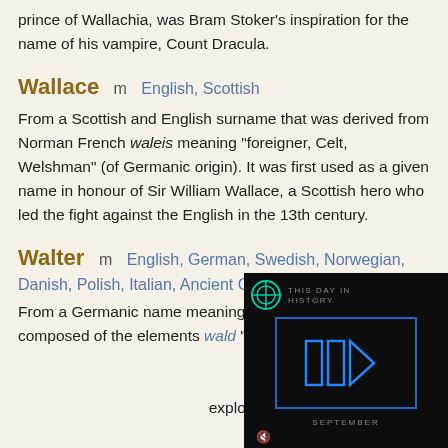prince of Wallachia, was Bram Stoker's inspiration for the name of his vampire, Count Dracula.
Wallace  m  English, Scottish
From a Scottish and English surname that was derived from Norman French waleis meaning "foreigner, Celt, Welshman" (of Germanic origin). It was first used as a given name in honour of Sir William Wallace, a Scottish hero who led the fight against the English in the 13th century.
Walter  m  English, German, Swedish, Norwegian, Danish, Polish, Italian, Ancient Germanic
From a Germanic name meaning "ruler of the army", composed of the elements wald "rule" and ... England, where it replaced ... famous bearer of the name ... explorer Sir Walter Raleigh ... Walter Scott (1771-1832) ... and other notable works.
[Figure (screenshot): A video player overlay showing 'THIS DAY IN HISTORY' with a play button icon and 'SEPTEMBER' text at the bottom, on a dark background with a circular logo in the top-left corner.]